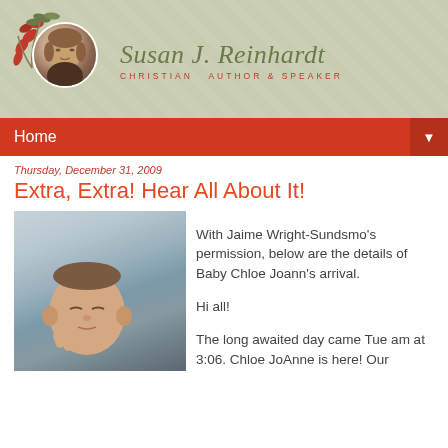[Figure (logo): Susan J. Reinhardt Christian Author & Speaker blog header with circular author photo, floral decoration, and script name on sage green background]
Home ▼
Thursday, December 31, 2009
Extra, Extra! Hear All About It!
[Figure (photo): Close-up photo of newborn baby Chloe Joann, eyes closed, against soft blue fabric]
With Jaime Wright-Sundsmo's permission, below are the details of Baby Chloe Joann's arrival.

Hi all!

The long awaited day came Tue am at 3:06. Chloe JoAnne is here! Our